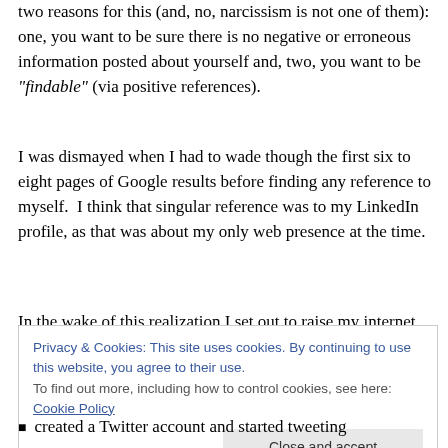two reasons for this (and, no, narcissism is not one of them): one, you want to be sure there is no negative or erroneous information posted about yourself and, two, you want to be "findable" (via positive references).
I was dismayed when I had to wade though the first six to eight pages of Google results before finding any reference to myself.  I think that singular reference was to my LinkedIn profile, as that was about my only web presence at the time.
In the wake of this realization I set out to raise my internet
Privacy & Cookies: This site uses cookies. By continuing to use this website, you agree to their use.
To find out more, including how to control cookies, see here: Cookie Policy
[Close and accept]
created a Twitter account and started tweeting